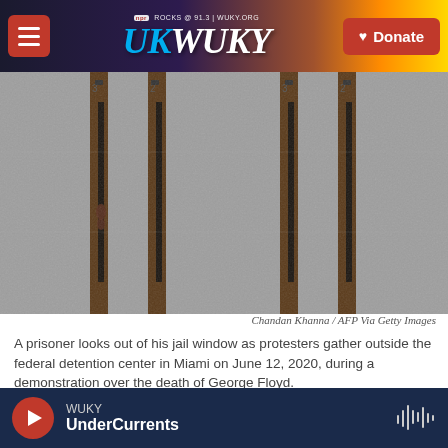NPR ROCKS @ 91.3 | WUKY.ORG — WUKY — Donate
[Figure (photo): Prison wall with narrow vertical windows, person visible behind bars, concrete exterior. Sunset sky visible in header background.]
Chandan Khanna / AFP Via Getty Images
A prisoner looks out of his jail window as protesters gather outside the federal detention center in Miami on June 12, 2020, during a demonstration over the death of George Floyd.
Thousands of people are leaving federal prison this
WUKY UnderCurrents